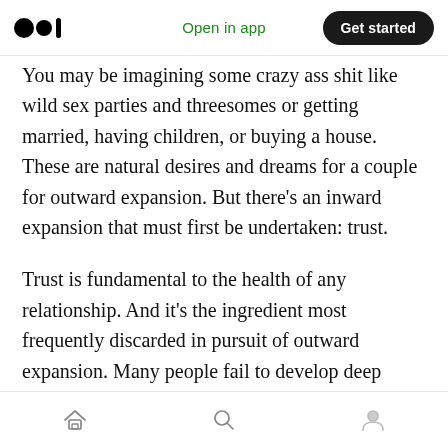Open in app | Get started
You may be imagining some crazy ass shit like wild sex parties and threesomes or getting married, having children, or buying a house. These are natural desires and dreams for a couple for outward expansion. But there’s an inward expansion that must first be undertaken: trust.
Trust is fundamental to the health of any relationship. And it’s the ingredient most frequently discarded in pursuit of outward expansion. Many people fail to develop deep levels of trust before getting married, having a
Home | Search | Profile